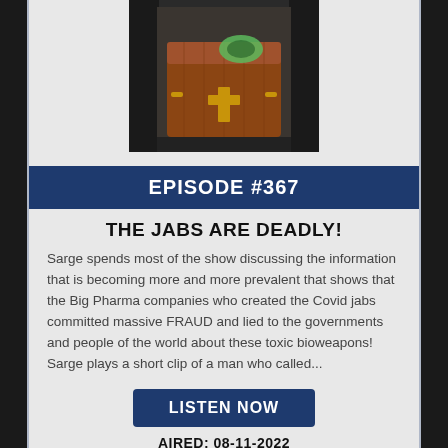[Figure (photo): Photo of a wooden coffin/casket being loaded into a hearse, with a green circular logo visible on top]
EPISODE #367
THE JABS ARE DEADLY!
Sarge spends most of the show discussing the information that is becoming more and more prevalent that shows that the Big Pharma companies who created the Covid jabs committed massive FRAUD and lied to the governments and people of the world about these toxic bioweapons! Sarge plays a short clip of a man who called...
LISTEN NOW
AIRED: 08-11-2022